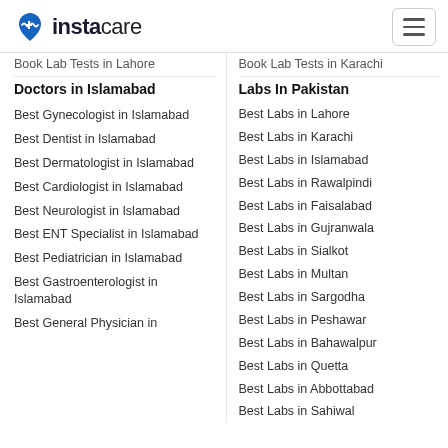instacare
Book Lab Tests in Lahore
Book Lab Tests in Karachi
Doctors in Islamabad
Labs In Pakistan
Best Gynecologist in Islamabad
Best Labs in Lahore
Best Dentist in Islamabad
Best Labs in Karachi
Best Dermatologist in Islamabad
Best Labs in Islamabad
Best Cardiologist in Islamabad
Best Labs in Rawalpindi
Best Neurologist in Islamabad
Best Labs in Faisalabad
Best ENT Specialist in Islamabad
Best Labs in Gujranwala
Best Pediatrician in Islamabad
Best Labs in Sialkot
Best Gastroenterologist in Islamabad
Best Labs in Multan
Best General Physician in
Best Labs in Sargodha
Best Labs in Peshawar
Best Labs in Bahawalpur
Best Labs in Quetta
Best Labs in Abbottabad
Best Labs in Sahiwal